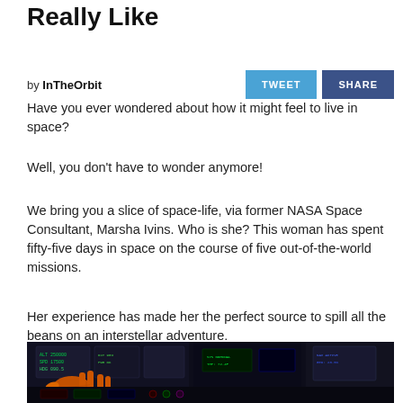Really Like
by InTheOrbit
Have you ever wondered about how it might feel to live in space?
Well, you don't have to wonder anymore!
We bring you a slice of space-life, via former NASA Space Consultant, Marsha Ivins. Who is she? This woman has spent fifty-five days in space on the course of five out-of-the-world missions.
Her experience has made her the perfect source to spill all the beans on an interstellar adventure.
[Figure (photo): A person wearing an orange glove interacting with cockpit controls and displays on a spacecraft, showing lit instrument panels and screens in a dark cockpit environment.]